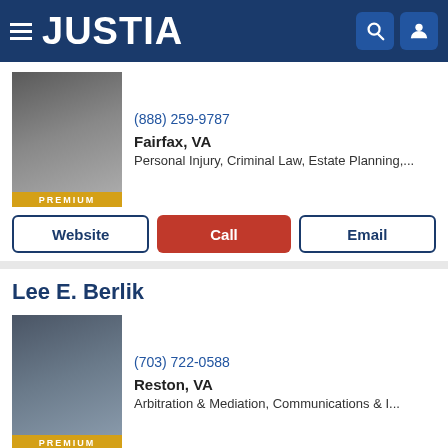JUSTIA
(888) 259-9787
Fairfax, VA
Personal Injury, Criminal Law, Estate Planning,...
PREMIUM
Lee E. Berlik
(703) 722-0588
Reston, VA
Arbitration & Mediation, Communications & I...
PREMIUM
Benjamin Boscolo